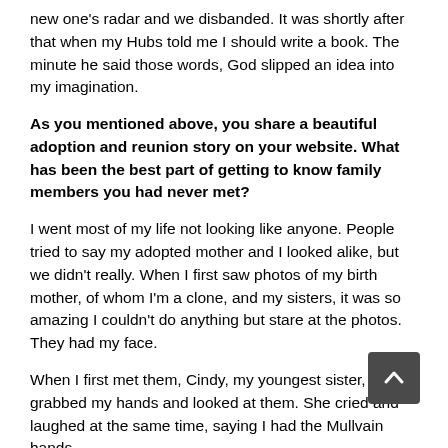new one's radar and we disbanded. It was shortly after that when my Hubs told me I should write a book. The minute he said those words, God slipped an idea into my imagination.
As you mentioned above, you share a beautiful adoption and reunion story on your website. What has been the best part of getting to know family members you had never met?
I went most of my life not looking like anyone. People tried to say my adopted mother and I looked alike, but we didn't really. When I first saw photos of my birth mother, of whom I'm a clone, and my sisters, it was so amazing I couldn't do anything but stare at the photos. They had my face.
When I first met them, Cindy, my youngest sister, grabbed my hands and looked at them. She cried and laughed at the same time, saying I had the Mullvain hands.
What I found so astounding is the things I thought were traits brought about by environment, were in fact imprinted on my